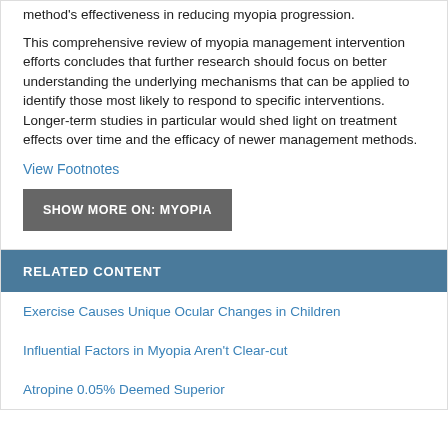method's effectiveness in reducing myopia progression.
This comprehensive review of myopia management intervention efforts concludes that further research should focus on better understanding the underlying mechanisms that can be applied to identify those most likely to respond to specific interventions. Longer-term studies in particular would shed light on treatment effects over time and the efficacy of newer management methods.
View Footnotes
SHOW MORE ON: MYOPIA
RELATED CONTENT
Exercise Causes Unique Ocular Changes in Children
Influential Factors in Myopia Aren't Clear-cut
Atropine 0.05% Deemed Superior